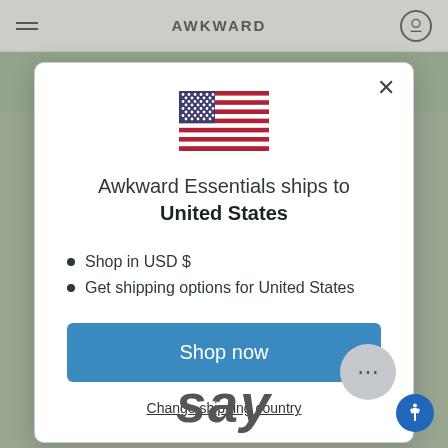AWKWARD
[Figure (illustration): US flag emoji icon]
Awkward Essentials ships to United States
Shop in USD $
Get shipping options for United States
Shop now
Change shipping country